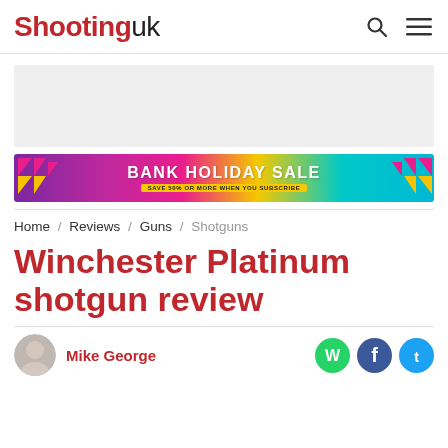Shooting uk
[Figure (other): Grey advertisement placeholder rectangle]
[Figure (other): Bank Holiday Sale banner - colourful promotional banner with text BANK HOLIDAY SALE SAVE 50% OR MORE WHEN YOU SUBSCRIBE]
Home / Reviews / Guns / Shotguns
Winchester Platinum shotgun review
Mike George